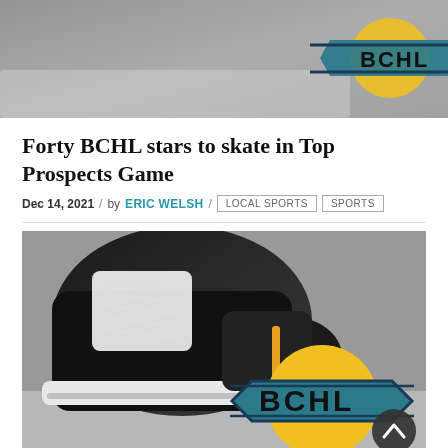[Figure (photo): Top portion of a hockey skate with BCHL logo visible, cropped at top of page]
Forty BCHL stars to skate in Top Prospects Game
Dec 14, 2021 / by ERIC WELSH / LOCAL SPORTS SPORTS
[Figure (photo): Hockey ice skate (black) with white laces on ice surface, BCHL logo overlaid in lower right, and a circular back-to-top button in bottom right corner]